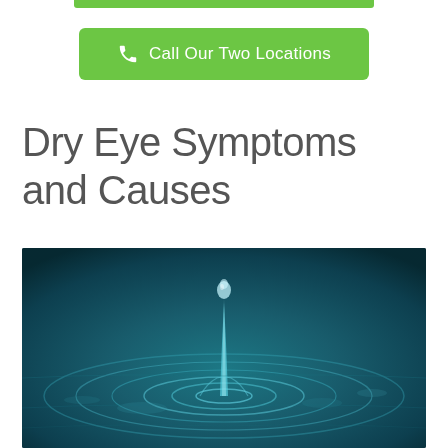[Figure (other): Green bar at top of page (partial, cropped)]
Call Our Two Locations
Dry Eye Symptoms and Causes
[Figure (photo): Close-up macro photograph of a water droplet splash creating circular ripples on a dark teal/blue-green water surface, with a vertical water column rising from the center]